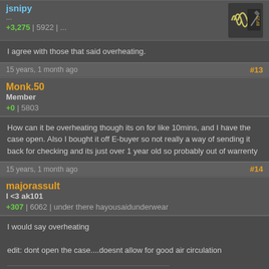jsnipy
...
+3,275 | 5922 | ...
I agree with those that said overheating.
15 years, 1 month ago
#13
Monk.50
Member
+0 | 5803
How can it be overheating though its on for like 10mins, and I have the case open. Also I bought it off E-buyer so not really a way of sending it back for checking and its just over 1 year old so probably out of warrenty
15 years, 1 month ago
#14
majorassult
I <3 ak101
+307 | 6062 | under there hayousaidunderwear
I would say overheating

edit: dont open the case....doesnt allow for good air circulation

Last edited by majorassult (15 years, 1 month ago)